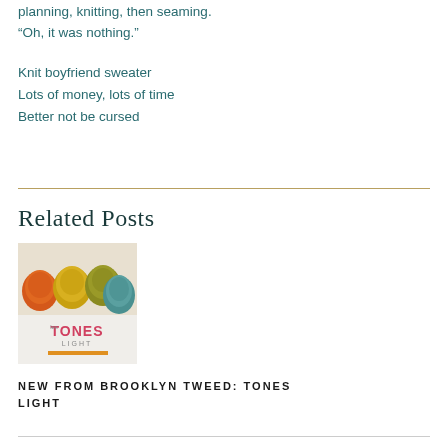planning, knitting, then seaming.
“Oh, it was nothing.”
Knit boyfriend sweater
Lots of money, lots of time
Better not be cursed
Related Posts
[Figure (photo): Image of yarn skeins in orange, yellow, and teal colors with 'TONES LIGHT' text overlay]
NEW FROM BROOKLYN TWEED: TONES LIGHT